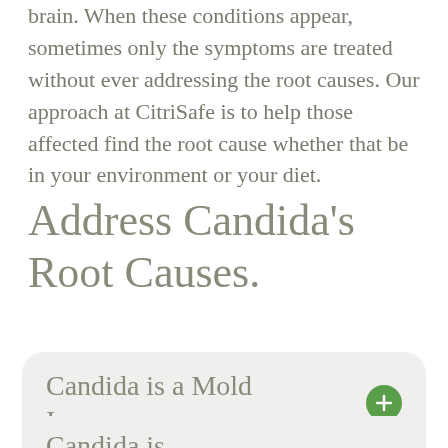brain. When these conditions appear, sometimes only the symptoms are treated without ever addressing the root causes. Our approach at CitriSafe is to help those affected find the root cause whether that be in your environment or your diet.
Address Candida's Root Causes.
Candida is a Mold Issue
Candida is